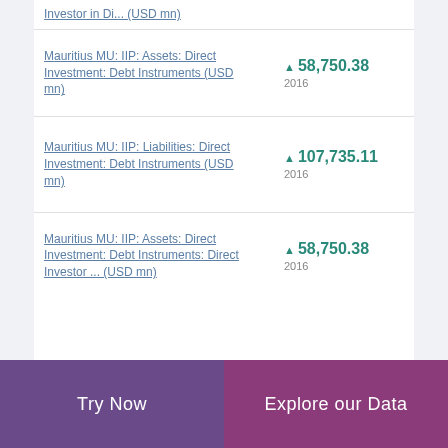Investor in Di... (USD mn)
Mauritius MU: IIP: Assets: Direct Investment: Debt Instruments (USD mn)
Mauritius MU: IIP: Liabilities: Direct Investment: Debt Instruments (USD mn)
Mauritius MU: IIP: Assets: Direct Investment: Debt Instruments: Direct Investor ... (USD mn)
Try Now | Explore our Data